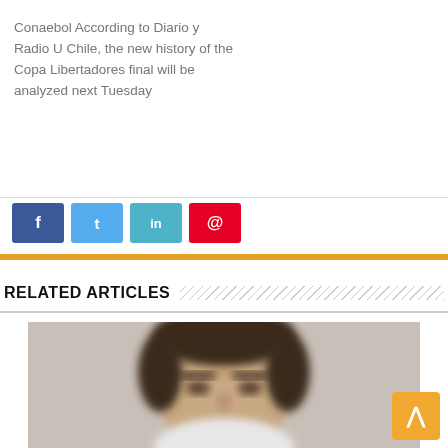Conaebol According to Diario y Radio U Chile, the new history of the Copa Libertadores final will be analyzed next Tuesday
[Figure (other): Social media share buttons: Facebook (blue), Twitter (light blue), LinkedIn (teal), Pinterest (red)]
RELATED ARTICLES
[Figure (photo): Blurred close-up photo of a man's face with dark hair against a light grey background]